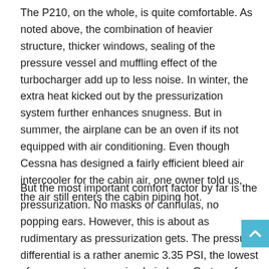The P210, on the whole, is quite comfortable. As noted above, the combination of heavier structure, thicker windows, sealing of the pressure vessel and muffling effect of the turbocharger add up to less noise. In winter, the extra heat kicked out by the pressurization system further enhances snugness. But in summer, the airplane can be an oven if its not equipped with air conditioning. Even though Cessna has designed a fairly efficient bleed air intercooler for the cabin air, one owner told us, the air still enters the cabin piping hot.
But the most important comfort factor by far is the pressurization. No masks or cannulas, no popping ears. However, this is about as rudimentary as pressurization gets. The pressure differential is a rather anemic 3.35 PSI, the lowest of any current pressurized airplane. On top of that, the system has no rate controller. It simply starts to pressurize at the altitude selected by the pilot, maintains that cabin altitude as long as it can and then maintains max differential.